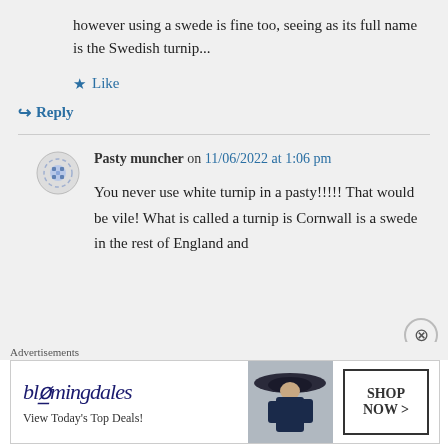however using a swede is fine too, seeing as its full name is the Swedish turnip...
★ Like
↳ Reply
Pasty muncher on 11/06/2022 at 1:06 pm
You never use white turnip in a pasty!!!!! That would be vile! What is called a turnip is Cornwall is a swede in the rest of England and
Advertisements
[Figure (other): Bloomingdale's advertisement banner with logo, tagline 'View Today's Top Deals!', model with hat, and 'SHOP NOW >' button]